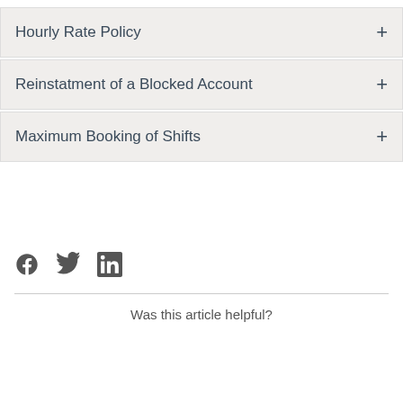Hourly Rate Policy
Reinstatment of a Blocked Account
Maximum Booking of Shifts
[Figure (other): Social media icons: Facebook, Twitter, LinkedIn]
Was this article helpful?